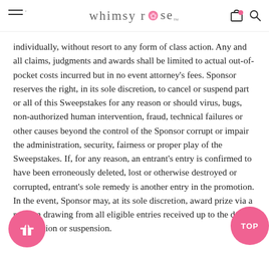whimsy rose
individually, without resort to any form of class action. Any and all claims, judgments and awards shall be limited to actual out-of-pocket costs incurred but in no event attorney's fees. Sponsor reserves the right, in its sole discretion, to cancel or suspend part or all of this Sweepstakes for any reason or should virus, bugs, non-authorized human intervention, fraud, technical failures or other causes beyond the control of the Sponsor corrupt or impair the administration, security, fairness or proper play of the Sweepstakes. If, for any reason, an entrant's entry is confirmed to have been erroneously deleted, lost or otherwise destroyed or corrupted, entrant's sole remedy is another entry in the promotion. In the event, Sponsor may, at its sole discretion, award prize via a random drawing from all eligible entries received up to the date of cancellation or suspension.